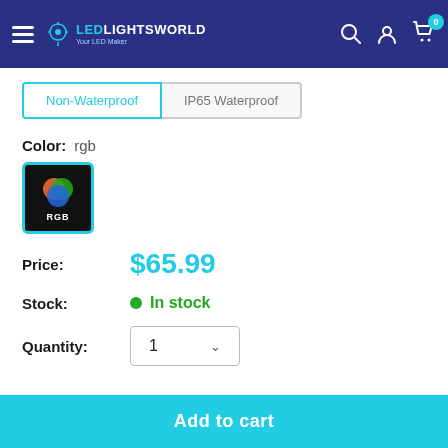LEDLightsWorld — Your LED Maker (navigation bar with search, account, cart icons)
Non-Waterproof | IP65 Waterproof (tabs)
Color: rgb
[Figure (illustration): RGB color swatch icon — black square with overlapping red, green, blue circles and 'RGB' label]
Price: $65.99
Stock: In stock
Quantity: 1
Add to cart